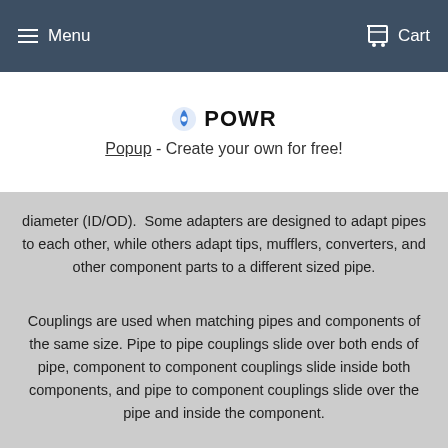Menu  Cart
[Figure (logo): POWR logo with gear/power icon]
Popup - Create your own for free!
diameter (ID/OD).  Some adapters are designed to adapt pipes to each other, while others adapt tips, mufflers, converters, and other component parts to a different sized pipe.
Couplings are used when matching pipes and components of the same size. Pipe to pipe couplings slide over both ends of pipe, component to component couplings slide inside both components, and pipe to component couplings slide over the pipe and inside the component.
There are four categories of Adapter/Reducers: